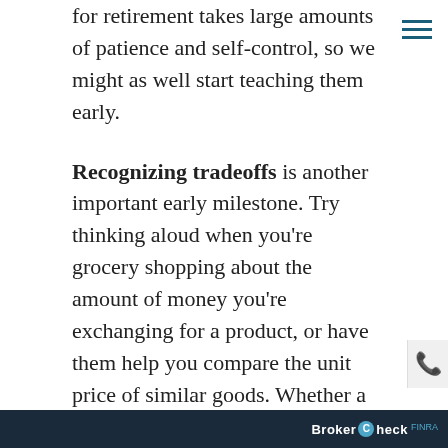for retirement takes large amounts of patience and self-control, so we might as well start teaching them early.
Recognizing tradeoffs is another important early milestone. Try thinking aloud when you're grocery shopping about the amount of money you're exchanging for a product, or have them help you compare the unit price of similar goods. Whether a trade involves money, treats or time, discuss with your child how every decision has consequences.
Around age 5, it's important to give kids some cash to manage. A regular allowance allows them to start thinking in terms of financial tradeoffs, and you can
BrokerCheck